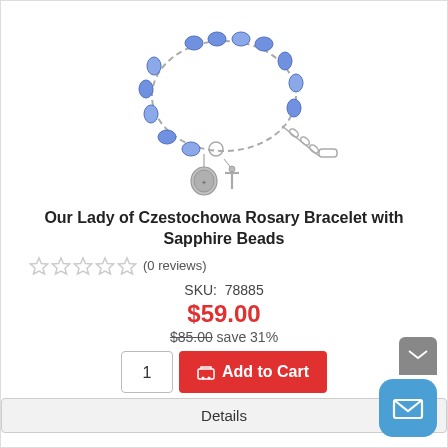[Figure (photo): A rosary bracelet with blue sapphire beads, silver chain links, a miraculous medal charm, and a small crucifix pendant]
Our Lady of Czestochowa Rosary Bracelet with Sapphire Beads
★★★★★ (0 reviews)
SKU: 78885
$59.00
$85.00 save 31%
1  Add to Cart
Details